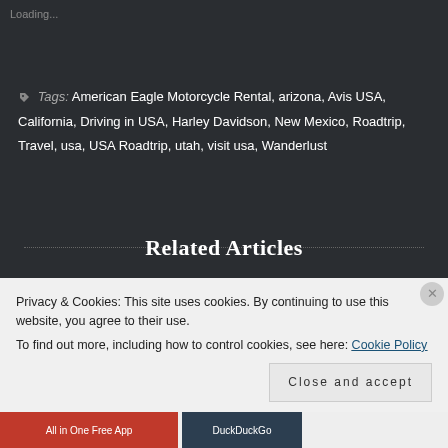Loading...
Tags: American Eagle Motorcycle Rental, arizona, Avis USA, California, Driving in USA, Harley Davidson, New Mexico, Roadtrip, Travel, usa, USA Roadtrip, utah, visit usa, Wanderlust
Related Articles
Privacy & Cookies: This site uses cookies. By continuing to use this website, you agree to their use.
To find out more, including how to control cookies, see here: Cookie Policy
Close and accept
All in One Free App
DuckDuckGo